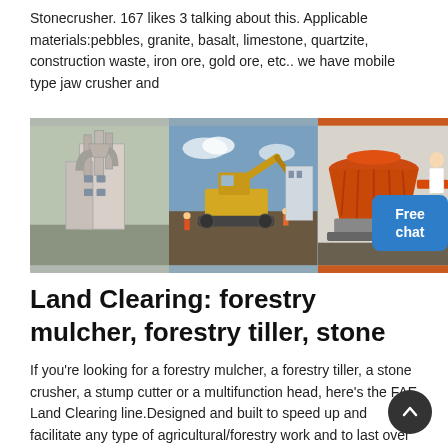Stonecrusher. 167 likes 3 talking about this. Applicable materials:pebbles, granite, basalt, limestone, quartzite, construction waste, iron ore, gold ore, etc.. we have mobile type jaw crusher and
[Figure (photo): Collage of three industrial/mining machinery photos: left shows a large grey industrial mill/grinder building with pipes, center shows yellow heavy excavator/mining equipment in operation outdoors, right shows a large orange cone crusher machine with a person in lab coat standing beside it. A blue 'Free chat' badge overlays the bottom-right.]
Land Clearing: forestry mulcher, forestry tiller, stone
If you're looking for a forestry mulcher, a forestry tiller, a stone crusher, a stump cutter or a multifunction head, here's the FAE Land Clearing line.Designed and built to speed up and facilitate any type of agricultural/forestry work and to last over time, FAE machinery allow industry professionals to perform any reclamation work and land preparation, being certain of the quality of the